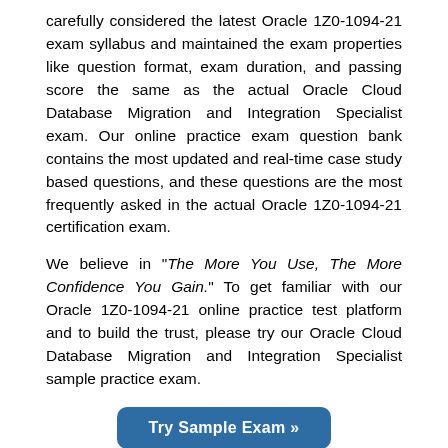carefully considered the latest Oracle 1Z0-1094-21 exam syllabus and maintained the exam properties like question format, exam duration, and passing score the same as the actual Oracle Cloud Database Migration and Integration Specialist exam. Our online practice exam question bank contains the most updated and real-time case study based questions, and these questions are the most frequently asked in the actual Oracle 1Z0-1094-21 certification exam.
We believe in "The More You Use, The More Confidence You Gain." To get familiar with our Oracle 1Z0-1094-21 online practice test platform and to build the trust, please try our Oracle Cloud Database Migration and Integration Specialist sample practice exam.
[Figure (other): Button labeled 'Try Sample Exam »' with blue rounded rectangle background]
The Oracle 1Z0-1094-21 sample exam covers the basic sample questions for evaluation purposes. To test your readiness with more complex and real-time scenario based question-answers, we strongly recommend you to prepare with our online premium Oracle Cloud Database Migration and Integration 2021 Specialist